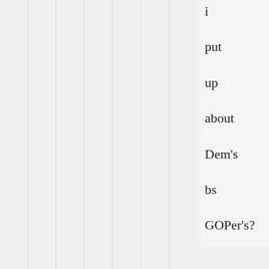i put up about Dem's bs GOPer's?
[Figure (illustration): User avatar placeholder icon - grey silhouette of a person]
CG says